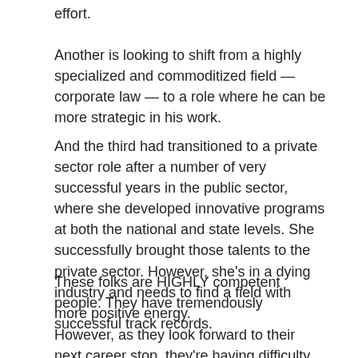effort.
Another is looking to shift from a highly specialized and commoditized field — corporate law — to a role where he can be more strategic in his work.
And the third had transitioned to a private sector role after a number of very successful years in the public sector, where she developed innovative programs at both the national and state levels. She successfully brought those talents to the private sector. However, she's in a dying industry and needs to find a field with more positive energy.
These folks are HIGHLY competent people. They have tremendously successful track records.
However, as they look forward to their next career stop, they're having difficulty defining what that looks like specifically. So they tell their stories from their most recent